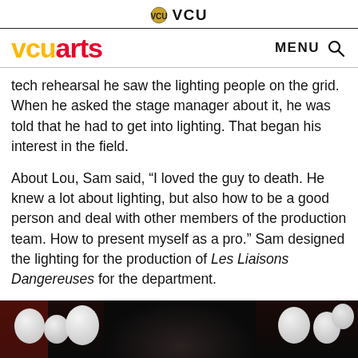VCU
vcuarts  MENU
tech rehearsal he saw the lighting people on the grid. When he asked the stage manager about it, he was told that he had to get into lighting. That began his interest in the field.
About Lou, Sam said, “I loved the guy to death. He knew a lot about lighting, but also how to be a good person and deal with other members of the production team. How to present myself as a pro.” Sam designed the lighting for the production of Les Liaisons Dangereuses for the department.
[Figure (photo): Black and white photo showing white balloons with dark background, partial view of people]